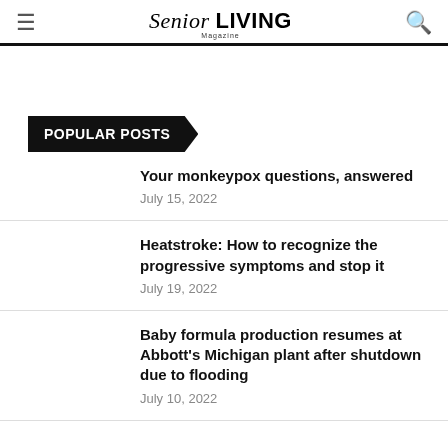Senior LIVING Magazine
POPULAR POSTS
Your monkeypox questions, answered
July 15, 2022
Heatstroke: How to recognize the progressive symptoms and stop it
July 19, 2022
Baby formula production resumes at Abbott's Michigan plant after shutdown due to flooding
July 10, 2022